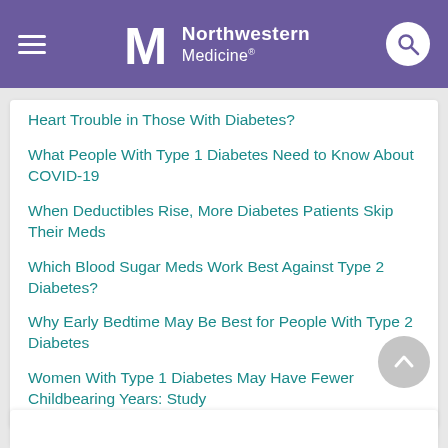Northwestern Medicine
Heart Trouble in Those With Diabetes?
What People With Type 1 Diabetes Need to Know About COVID-19
When Deductibles Rise, More Diabetes Patients Skip Their Meds
Which Blood Sugar Meds Work Best Against Type 2 Diabetes?
Why Early Bedtime May Be Best for People With Type 2 Diabetes
Women With Type 1 Diabetes May Have Fewer Childbearing Years: Study